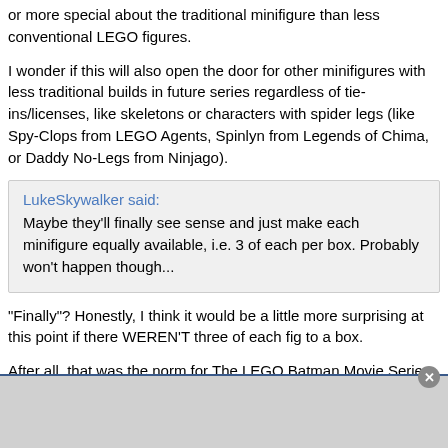or more special about the traditional minifigure than less conventional LEGO figures.
I wonder if this will also open the door for other minifigures with less traditional builds in future series regardless of tie-ins/licenses, like skeletons or characters with spider legs (like Spy-Clops from LEGO Agents, Spinlyn from Legends of Chima, or Daddy No-Legs from Ninjago).
LukeSkywalker said:
Maybe they'll finally see sense and just make each minifigure equally available, i.e. 3 of each per box. Probably won't happen though...
"Finally"? Honestly, I think it would be a little more surprising at this point if there WEREN'T three of each fig to a box.
After all, that was the norm for The LEGO Batman Movie Series, The LEGO Ninjago Movie Series, and The LEGO Batman Movie Series 2. Not only were those the previous three LEGO Movie tie-in series, but also the ONLY three